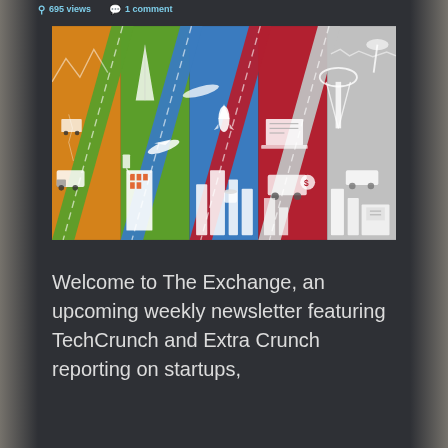695 views  1 comment
[Figure (illustration): TechCrunch isometric city illustration divided into vertical color-coded strips: orange (transportation/trucks), green (buildings/TechCrunch logo), blue (cityscape/rocket), red (tech/laptops), and gray (communications/satellite tower). Cities with various technology and transport elements rendered in isometric style.]
Welcome to The Exchange, an upcoming weekly newsletter featuring TechCrunch and Extra Crunch reporting on startups,